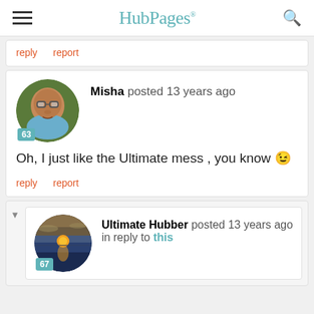HubPages
reply   report
Misha posted 13 years ago
Oh, I just like the Ultimate mess , you know 😉
reply   report
Ultimate Hubber posted 13 years ago in reply to this